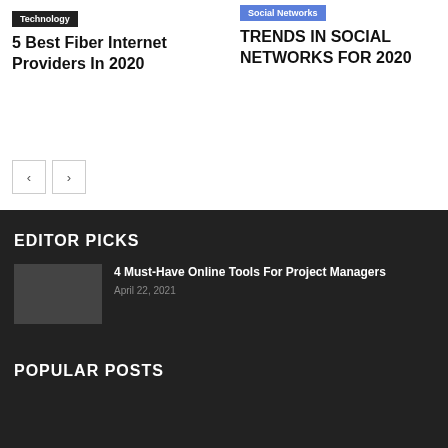Technology
5 Best Fiber Internet Providers In 2020
Social Networks
TRENDS IN SOCIAL NETWORKS FOR 2020
EDITOR PICKS
4 Must-Have Online Tools For Project Managers
April 22, 2021
POPULAR POSTS